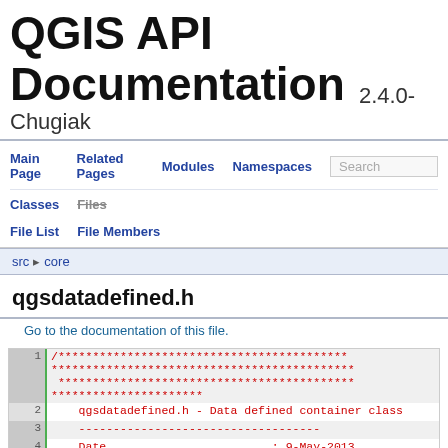QGIS API Documentation 2.4.0-Chugiak
Main Page | Related Pages | Modules | Namespaces | Classes | Files | Search | File List | File Members
src > core
qgsdatadefined.h
Go to the documentation of this file.
1 /***********************************************
***********************************
2      qgsdatadefined.h - Data defined container class
3      -----------------------------------
4      Date                        : 9-May-2013
5      Copyright                   : (C) 2013 by Larry Shaffer
6      Email                       : ...